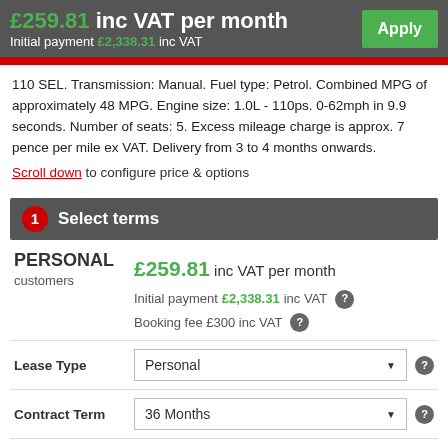£259.81 inc VAT per month
Initial payment £2,338.31 inc VAT
Apply
110 SEL. Transmission: Manual. Fuel type: Petrol. Combined MPG of approximately 48 MPG. Engine size: 1.0L - 110ps. 0-62mph in 9.9 seconds. Number of seats: 5. Excess mileage charge is approx. 7 pence per mile ex VAT. Delivery from 3 to 4 months onwards.
Scroll down to configure price & options
1 Select terms
PERSONAL customers
£259.81 inc VAT per month
Initial payment £2,338.31 inc VAT
Booking fee £300 inc VAT
Lease Type
Personal
Contract Term
36 Months